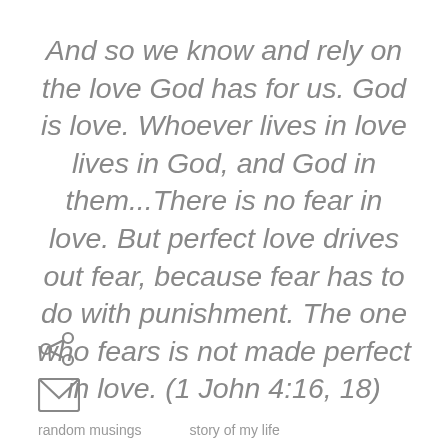And so we know and rely on the love God has for us. God is love. Whoever lives in love lives in God, and God in them...There is no fear in love. But perfect love drives out fear, because fear has to do with punishment. The one who fears is not made perfect in love. (1 John 4:16, 18)
[Figure (illustration): Share icon (less-than sign shaped share button)]
[Figure (illustration): Email/envelope icon]
random musings    story of my life